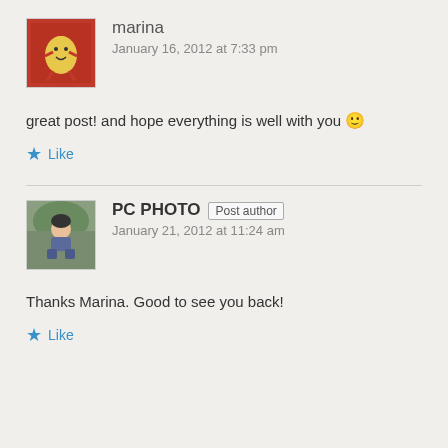[Figure (photo): Avatar image of marina - cartoon egg character on red background]
marina
January 16, 2012 at 7:33 pm
great post! and hope everything is well with you 🙂
Like
[Figure (photo): Avatar photo of PC PHOTO - person sitting outdoors]
PC PHOTO Post author
January 21, 2012 at 11:24 am
Thanks Marina. Good to see you back!
Like